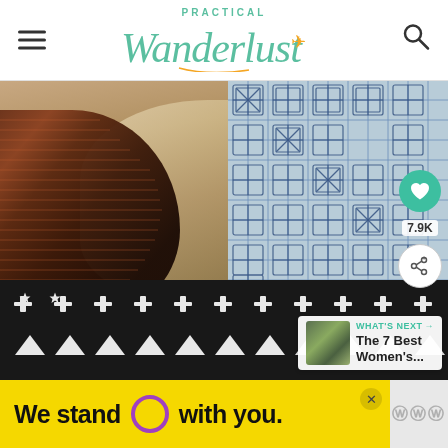Practical Wanderlust
[Figure (photo): Close-up photo of folded travel blankets and textiles stacked together — featuring a blue geometric patterned fabric, a dark brown/black woven textile, and a black-and-white star-patterned throw. A social sharing overlay is visible with a teal heart button, 7.9K count, and a share icon. A 'What's Next' widget shows 'The 7 Best Women's...' with a thumbnail.]
WHAT'S NEXT → The 7 Best Women's...
We stand O with you.